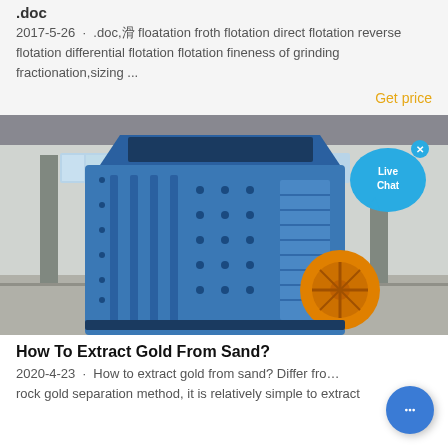.doc
2017-5-26 · .doc,浮 floatation froth flotation direct flotation reverse flotation differential flotation flotation fineness of grinding fractionation,sizing ...
Get price
[Figure (photo): Blue impact crusher/industrial mining machine with orange flywheel pulley, photographed in a factory/warehouse setting. A 'Live Chat' speech bubble overlay is visible in the top right corner with an X close button.]
How To Extract Gold From Sand?
2020-4-23 · How to extract gold from sand? Differ from rock gold separation method, it is relatively simple to extract